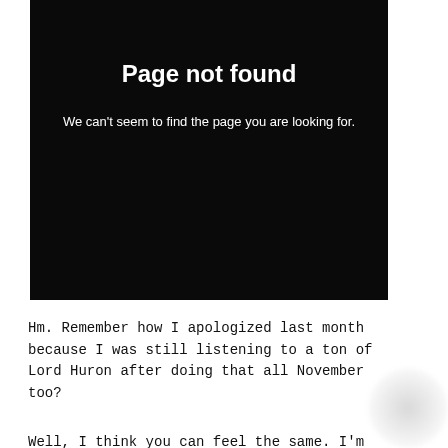Page not found
We can't seem to find the page you are looking for.
Hm. Remember how I apologized last month because I was still listening to a ton of Lord Huron after doing that all November too?
Well, I think you can feel the same. I'm still...